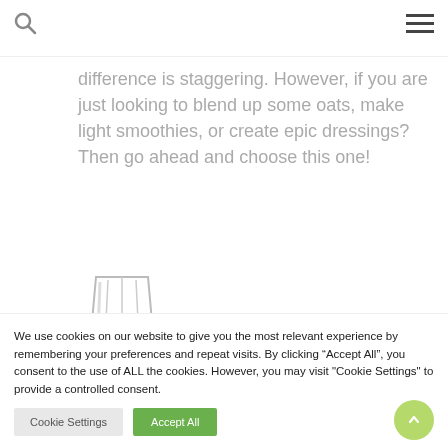Search and Menu navigation bar
difference is staggering. However, if you are just looking to blend up some oats, make light smoothies, or create epic dressings? Then go ahead and choose this one!
[Figure (photo): Partially visible blender jar/cup, glass or clear plastic, shown from the top portion]
We use cookies on our website to give you the most relevant experience by remembering your preferences and repeat visits. By clicking “Accept All”, you consent to the use of ALL the cookies. However, you may visit "Cookie Settings" to provide a controlled consent.